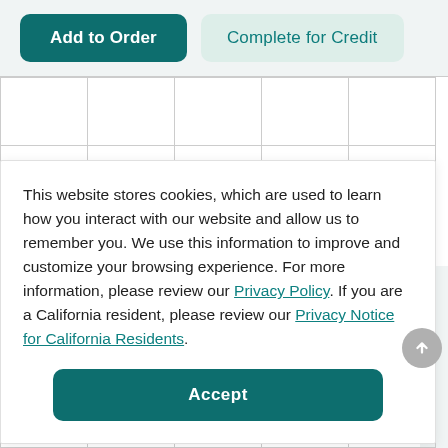[Figure (screenshot): Two buttons at top: 'Add to Order' (dark teal, filled) and 'Complete for Credit' (light teal, outlined)]
|  |  |  |  |  |
|  |  |  |  |  |
This website stores cookies, which are used to learn how you interact with our website and allow us to remember you. We use this information to improve and customize your browsing experience. For more information, please review our Privacy Policy. If you are a California resident, please review our Privacy Notice for California Residents.
40–80 mins
[Figure (screenshot): Accept button (dark teal rounded rectangle)]
|  |  |  |  |  |